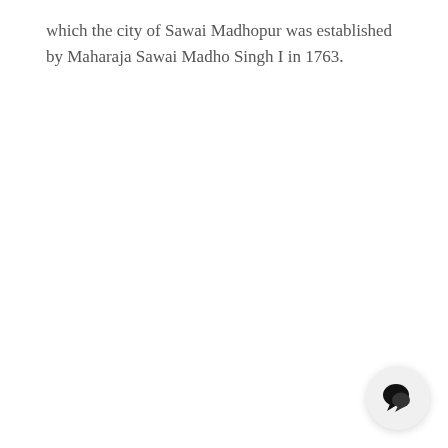which the city of Sawai Madhopur was established by Maharaja Sawai Madho Singh I in 1763.
[Figure (other): Chat bubble icon — circular button with a speech bubble icon in black on a light grey background]